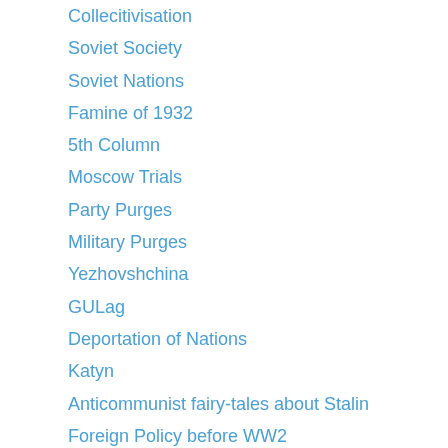Collecitivisation
Soviet Society
Soviet Nations
Famine of 1932
5th Column
Moscow Trials
Party Purges
Military Purges
Yezhovshchina
GULag
Deportation of Nations
Katyn
Anticommunist fairy-tales about Stalin
Foreign Policy before WW2
2nd World War
Cold War
After Stalin
Private Life of Stalin
Online Library (Books, PDFS)
The F.S. Hate Mail Page